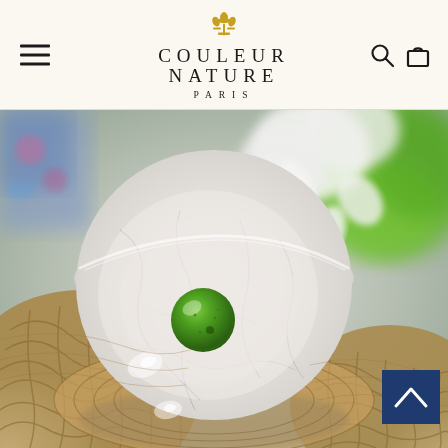COULEUR NATURE PARIS
[Figure (photo): Top-down view of a white marble bowl with gray veining sitting on a wicker/rattan surface. A single green lime sits in the center of the bowl. Background includes blurred white flowers/petals and green foliage. A dark navy blue back-to-top button with a chevron is visible at the lower right.]